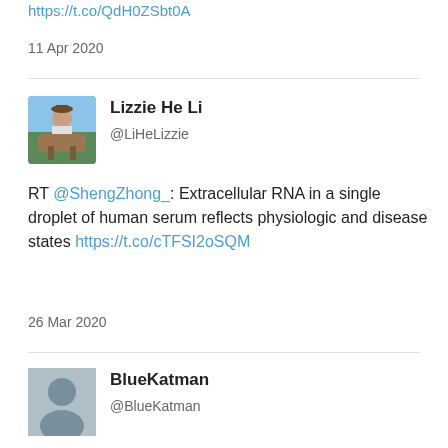https://t.co/QdH0ZSbtOA
11 Apr 2020
[Figure (photo): Profile photo of Lizzie He Li showing a person on horseback outdoors]
Lizzie He Li
@LiHeLizzie
RT @ShengZhong_: Extracellular RNA in a single droplet of human serum reflects physiologic and disease states https://t.co/cTFSI2oSQM
26 Mar 2020
[Figure (illustration): Default grey profile icon for BlueKatman]
BlueKatman
@BlueKatman
RT @Partek_Inc: Another NGS method with a super cool name has recently been published: SILVER-seq (for more: https://t.co/KYxQ4Q2A3J ). Yes...